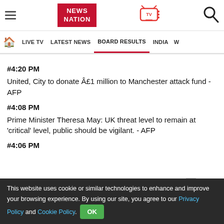NEWS NATION — LIVE TV | LATEST NEWS | BOARD RESULTS | INDIA
#4:20 PM
United, City to donate Â£1 million to Manchester attack fund - AFP
#4:08 PM
Prime Minister Theresa May: UK threat level to remain at 'critical' level, public should be vigilant. - AFP
#4:06 PM
This website uses cookie or similar technologies to enhance and improve your browsing experience. By using our site, you agree to our Privacy Policy and Cookie Policy. OK